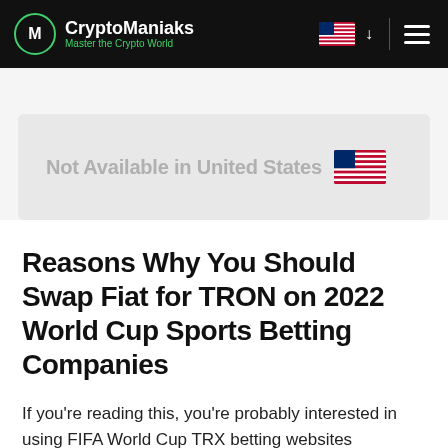CryptoManiaks – Master the Crypto World
Not Available in United States 🇺🇸
Reasons Why You Should Swap Fiat for TRON on 2022 World Cup Sports Betting Companies
If you're reading this, you're probably interested in using FIFA World Cup TRX betting websites